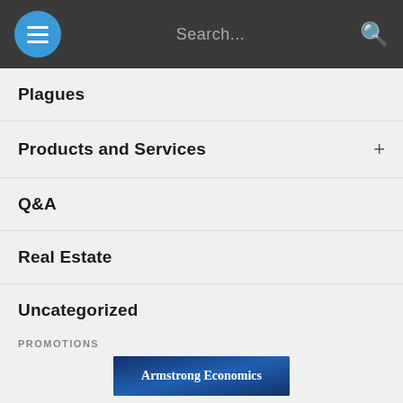Navigation bar with hamburger menu, Search placeholder, and search icon
Plagues
Products and Services +
Q&A
Real Estate
Uncategorized
Upcoming Events +
webinars
World Events +
PROMOTIONS
[Figure (other): Armstrong Economics promotional banner with dark blue background]